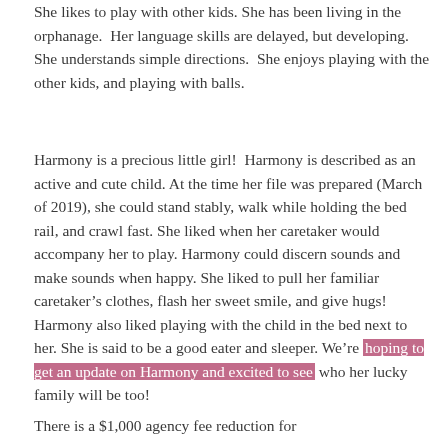She likes to play with other kids. She has been living in the orphanage.  Her language skills are delayed, but developing.  She understands simple directions.  She enjoys playing with the other kids, and playing with balls.
Harmony is a precious little girl!  Harmony is described as an active and cute child. At the time her file was prepared (March of 2019), she could stand stably, walk while holding the bed rail, and crawl fast. She liked when her caretaker would accompany her to play. Harmony could discern sounds and make sounds when happy. She liked to pull her familiar caretaker's clothes, flash her sweet smile, and give hugs! Harmony also liked playing with the child in the bed next to her. She is said to be a good eater and sleeper. We're hoping to get an update on Harmony and excited to see who her lucky family will be too!
There is a $1,000 agency fee reduction for